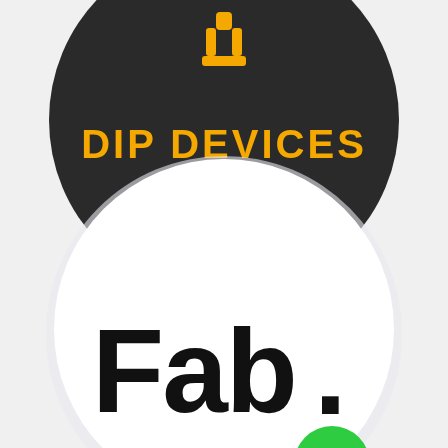[Figure (logo): Dip Devices logo on dark circular background. A small yellow icon appears at top center. Below it the text 'DIP DEVICES' in bold yellow/gold uppercase letters on a dark charcoal/black circular badge.]
[Figure (logo): Fab logo on white circular background. The text 'Fab.' in bold black sans-serif font with a green circular dot replacing or following the period, on a white/light circular badge.]